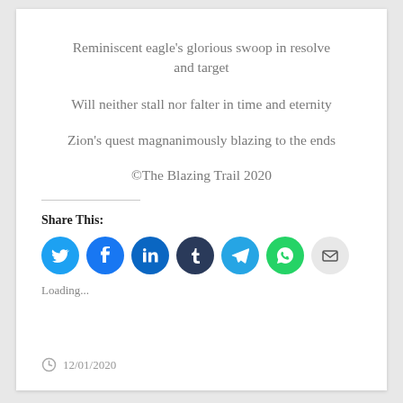Reminiscent eagle's glorious swoop in resolve and target
Will neither stall nor falter in time and eternity
Zion's quest magnanimously blazing to the ends
©The Blazing Trail 2020
Share This:
[Figure (other): Social share icons: Twitter, Facebook, LinkedIn, Tumblr, Telegram, WhatsApp, Email]
Loading...
12/01/2020